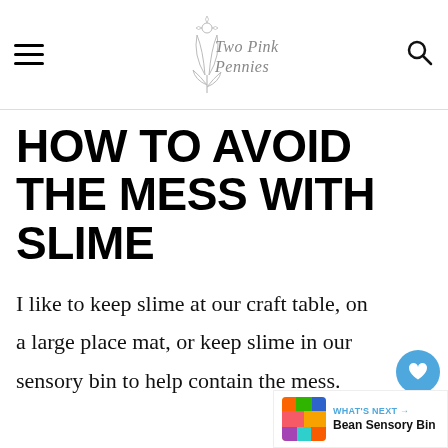Two Pink Pennies
HOW TO AVOID THE MESS WITH SLIME
I like to keep slime at our craft table, on a large place mat, or keep slime in our sensory bin to help contain the mess.
[Figure (other): What's Next widget showing Bean Sensory Bin with a thumbnail image]